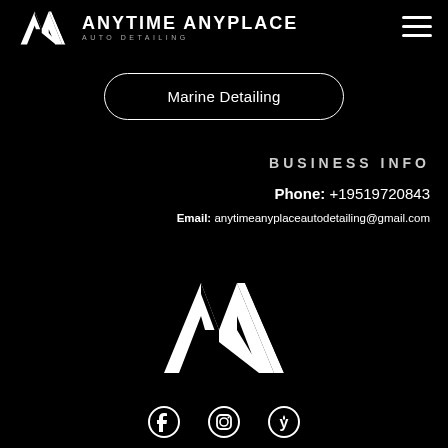[Figure (logo): Anytime Anyplace Auto Detailing logo with stylized AV chevron mark and brand name]
Marine Detailing
BUSINESS INFO
Phone: +19519720843
Email: anytimeanyplaceautodetailing@gmail.com
[Figure (logo): Large Anytime Anyplace Auto Detailing chevron logo mark (white on black)]
[Figure (infographic): Social media icons row: Facebook, Instagram, Yelp]